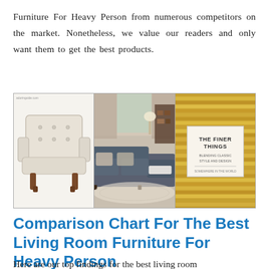Furniture For Heavy Person from numerous competitors on the market. Nonetheless, we value our readers and only want them to get the best products.
[Figure (photo): Collage of three furniture images: a beige tufted armchair on white background, a gray sectional sofa in a living room setting, and a decorative wood-slat wall panel with a sign reading 'The Finer Things'.]
Comparison Chart For The Best Living Room Furniture For Heavy Person
Here are our top findings for the best living room